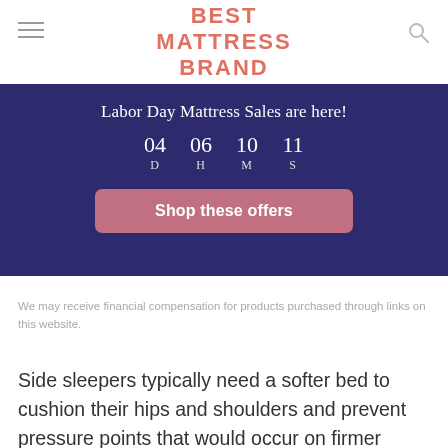BEST MATTRESS BRAND
Labor Day Mattress Sales are here!
04 D  06 H  10 M  11 S
Shop these offers
We may receive financial compensation for products purchased through links on this website.
Side sleepers typically need a softer bed to cushion their hips and shoulders and prevent pressure points that would occur on firmer mattresses. While a foam mattress may offer plenty of cushioning,